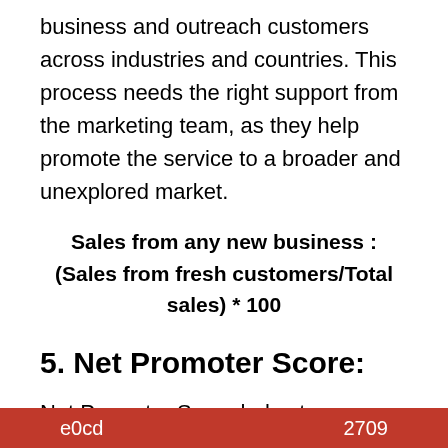business and outreach customers across industries and countries. This process needs the right support from the marketing team, as they help promote the service to a broader and unexplored market.
5. Net Promoter Score:
Net Promoter Score helps to understand how satisfied a customer is with your service. It also tells how loyal the customer would be towards your
e0cd                                    2709